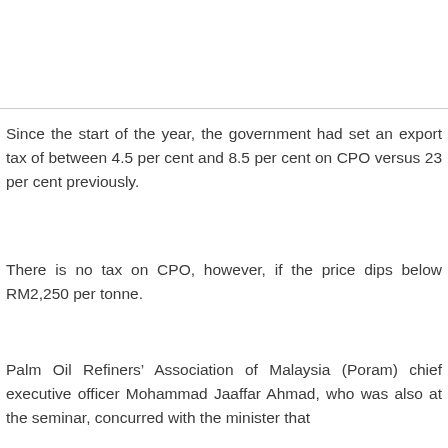Since the start of the year, the government had set an export tax of between 4.5 per cent and 8.5 per cent on CPO versus 23 per cent previously.
There is no tax on CPO, however, if the price dips below RM2,250 per tonne.
Palm Oil Refiners’ Association of Malaysia (Poram) chief executive officer Mohammad Jaaffar Ahmad, who was also at the seminar, concurred with the minister that